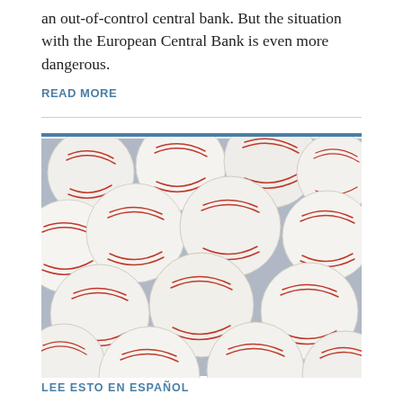an out-of-control central bank. But the situation with the European Central Bank is even more dangerous.
READ MORE
[Figure (photo): A large pile of white baseballs with red stitching filling the entire frame]
LEE ESTO EN ESPAÑOL